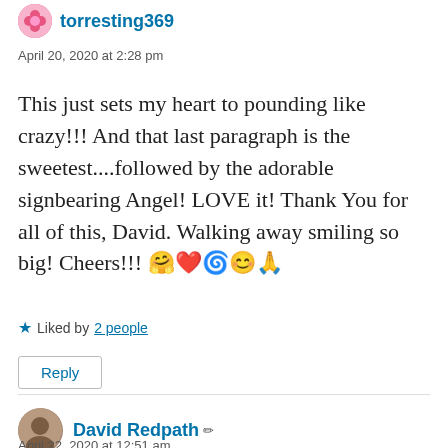torresting369
April 20, 2020 at 2:28 pm
This just sets my heart to pounding like crazy!!! And that last paragraph is the sweetest....followed by the adorable signbearing Angel! LOVE it! Thank You for all of this, David. Walking away smiling so big! Cheers!!! 🤗❤️🌀😊🙏
★ Liked by 2 people
Reply
David Redpath
April 22, 2020 at 12:51 am